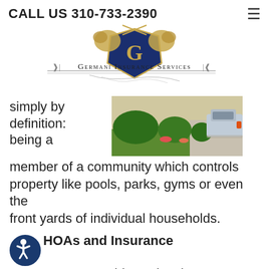CALL US 310-733-2390
[Figure (logo): Germani Insurance Services crest logo with gold lions and shield, with text 'Germani Insurance Services' below]
[Figure (photo): Photo of a house front yard with green bushes, flowers, driveway and a car parked]
simply by definition: being a member of a community which controls property like pools, parks, gyms or even the front yards of individual households.
HOAs and Insurance
Because HOA residency involves a number of responsibilities, it can be difficult to